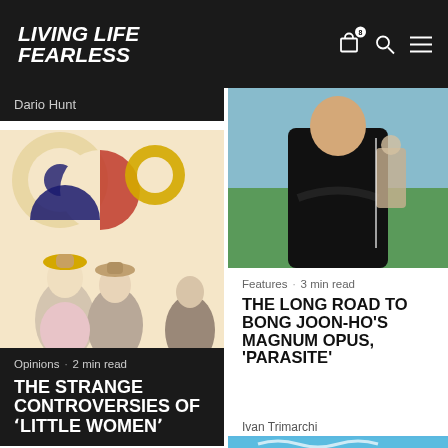LIVING LIFE FEARLESS
Dario Hunt
[Figure (photo): Movie still from Little Women showing women in period costumes with hats against colorful abstract background]
Opinions · 2 min read
THE STRANGE CONTROVERSIES OF 'LITTLE WOMEN'
[Figure (photo): Man in black sweater with arms crossed outdoors, another person in background on chair]
Features · 3 min read
THE LONG ROAD TO BONG JOON-HO'S MAGNUM OPUS, 'PARASITE'
Ivan Trimarchi
[Figure (photo): Blue background with white bird silhouette, bottom right thumbnail]